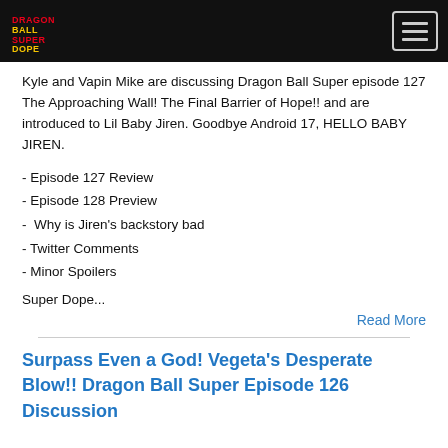[Figure (logo): Dragon Ball Super Dope logo in red and yellow on black background]
[Figure (other): Hamburger menu button with three horizontal lines, outlined box]
Kyle and Vapin Mike are discussing Dragon Ball Super episode 127 The Approaching Wall! The Final Barrier of Hope!! and are introduced to Lil Baby Jiren. Goodbye Android 17, HELLO BABY JIREN.
- Episode 127 Review
- Episode 128 Preview
-  Why is Jiren's backstory bad
- Twitter Comments
- Minor Spoilers
Super Dope...
Read More
Surpass Even a God! Vegeta's Desperate Blow!! Dragon Ball Super Episode 126 Discussion